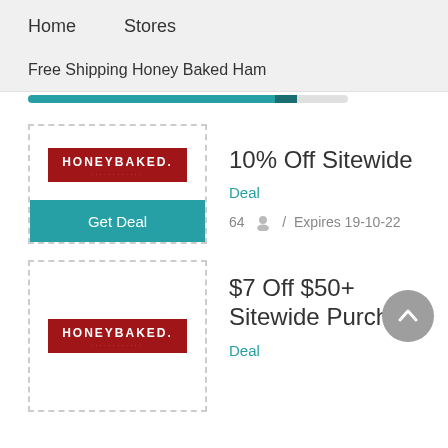Home    Stores
Free Shipping Honey Baked Ham
[Figure (other): Horizontal progress/loading bar, teal filled, with darker teal marker segment near right end]
[Figure (screenshot): HoneyBaked coupon card: dashed border box with HONEYBAKED logo in red and 'Get Deal' teal button]
10% Off Sitewide
Deal
64  /  Expires 19-10-22
[Figure (screenshot): Second HoneyBaked coupon card: dashed border box with HONEYBAKED logo in red]
$7 Off $50+ Sitewide Purchase
Deal